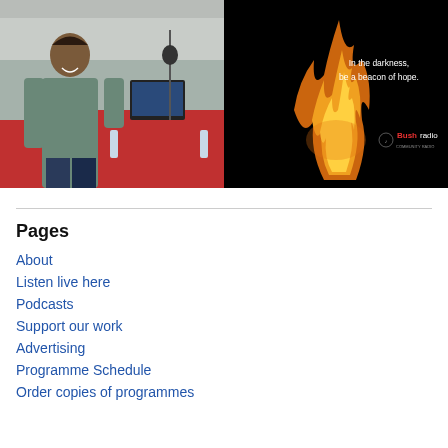[Figure (photo): Photo of a smiling person in a radio studio with microphone and computer equipment, red studio furniture in background]
[Figure (photo): Black background with orange/yellow flame in center, white text reading 'In the darkness, be a beacon of hope.' and Bush Radio logo at bottom right]
Pages
About
Listen live here
Podcasts
Support our work
Advertising
Programme Schedule
Order copies of programmes